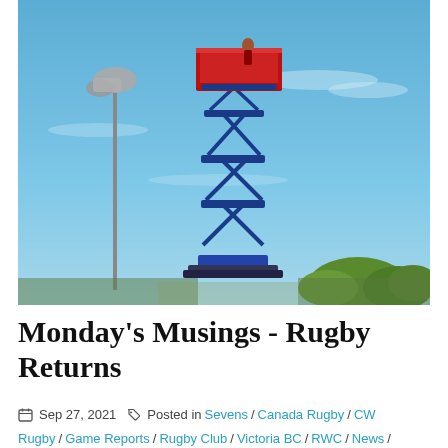[Figure (photo): Outdoor photo of a tall blue scissor-lift or elevated work platform with a red platform top against a blue sky. A person is visible at the top. A floodlight pole is visible on the left, and green trees are in the background.]
Monday's Musings - Rugby Returns
Sep 27, 2021   Posted in Sevens / Canada Rugby / CW Rugby / Game Reports / Rugby Club / Victoria BC / RWC / News /